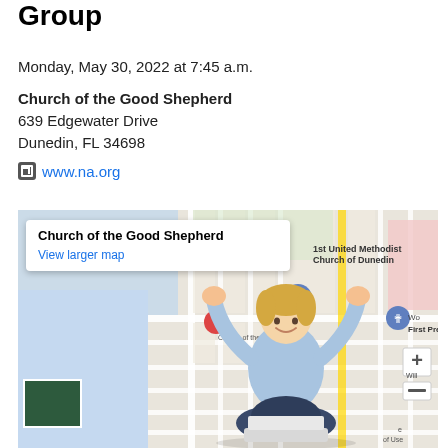Group
Monday, May 30, 2022 at 7:45 a.m.
Church of the Good Shepherd
639 Edgewater Drive
Dunedin, FL 34698
www.na.org
[Figure (map): Google Maps embed showing Church of the Good Shepherd at 639 Edgewater Drive, Dunedin FL, with nearby landmarks including First United Methodist Church of Dunedin and First Presbyterian. A popup label reads 'Church of the Good Shepherd / View larger map'. An overlaid photo shows a woman celebrating with fists raised, sitting cross-legged with a laptop.]